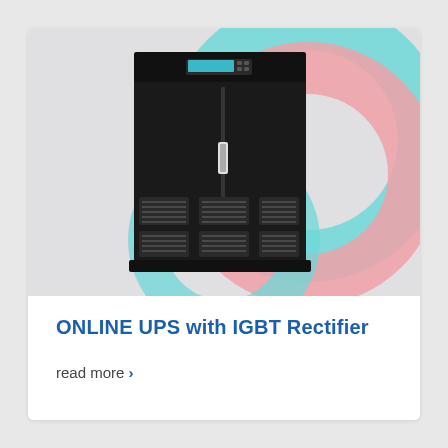[Figure (photo): A large black online UPS unit with IGBT rectifier on a light grey background with decorative cyan and pink arc shapes]
ONLINE UPS with IGBT Rectifier
read more >